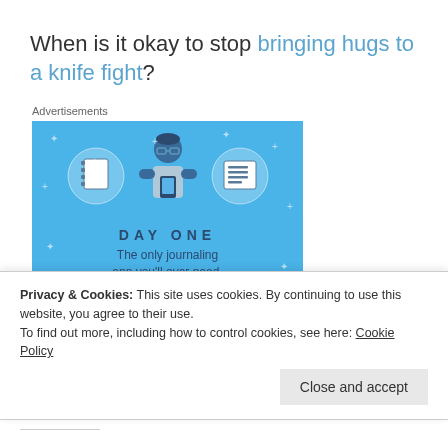When is it okay to stop bringing hugs to a knife fight?
Advertisements
[Figure (illustration): Day One journaling app advertisement with blue background, showing a person holding a phone flanked by two circular notebook icons, with text 'DAY ONE' and 'The only journaling app you'll ever need']
Privacy & Cookies: This site uses cookies. By continuing to use this website, you agree to their use. To find out more, including how to control cookies, see here: Cookie Policy
Close and accept